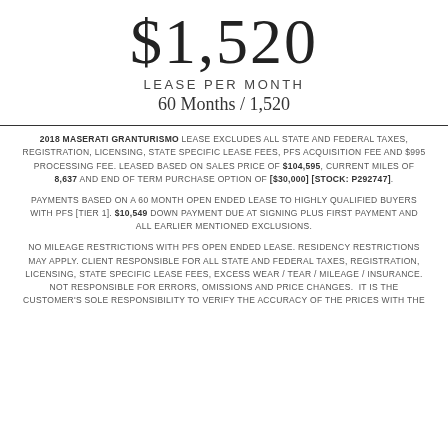$1,520
LEASE PER MONTH
60 Months / 1,520
2018 MASERATI GRANTURISMO LEASE EXCLUDES ALL STATE AND FEDERAL TAXES, REGISTRATION, LICENSING, STATE SPECIFIC LEASE FEES, PFS ACQUISITION FEE AND $995 PROCESSING FEE. LEASED BASED ON SALES PRICE OF $104,595, CURRENT MILES OF 8,637 AND END OF TERM PURCHASE OPTION OF [$30,000] [STOCK: P292747].
PAYMENTS BASED ON A 60 MONTH OPEN ENDED LEASE TO HIGHLY QUALIFIED BUYERS WITH PFS [TIER 1]. $10,549 DOWN PAYMENT DUE AT SIGNING PLUS FIRST PAYMENT AND ALL EARLIER MENTIONED EXCLUSIONS.
NO MILEAGE RESTRICTIONS WITH PFS OPEN ENDED LEASE. RESIDENCY RESTRICTIONS MAY APPLY. CLIENT RESPONSIBLE FOR ALL STATE AND FEDERAL TAXES, REGISTRATION, LICENSING, STATE SPECIFIC LEASE FEES, EXCESS WEAR / TEAR / MILEAGE / INSURANCE. NOT RESPONSIBLE FOR ERRORS, OMISSIONS AND PRICE CHANGES. IT IS THE CUSTOMER'S SOLE RESPONSIBILITY TO VERIFY THE ACCURACY OF THE PRICES WITH THE